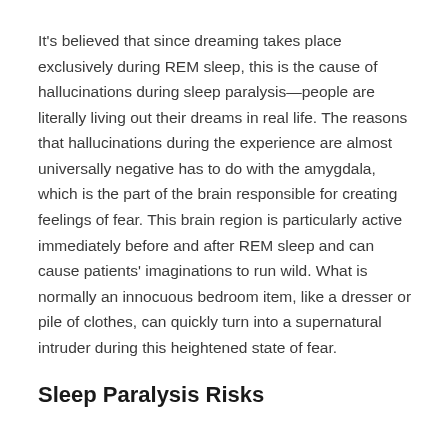It's believed that since dreaming takes place exclusively during REM sleep, this is the cause of hallucinations during sleep paralysis—people are literally living out their dreams in real life. The reasons that hallucinations during the experience are almost universally negative has to do with the amygdala, which is the part of the brain responsible for creating feelings of fear. This brain region is particularly active immediately before and after REM sleep and can cause patients' imaginations to run wild. What is normally an innocuous bedroom item, like a dresser or pile of clothes, can quickly turn into a supernatural intruder during this heightened state of fear.
Sleep Paralysis Risks